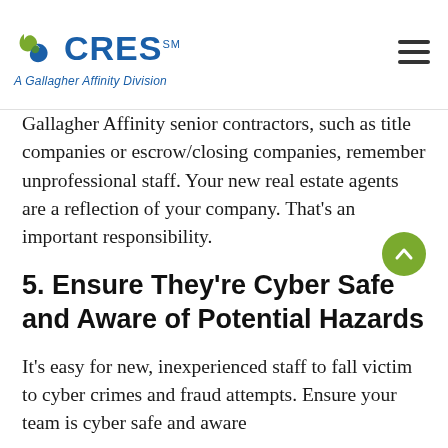CRES – A Gallagher Affinity Division
Gallagher Affinity senior contractors, such as title companies or escrow/closing companies, remember unprofessional staff. Your new real estate agents are a reflection of your company. That's an important responsibility.
5. Ensure They're Cyber Safe and Aware of Potential Hazards
It's easy for new, inexperienced staff to fall victim to cyber crimes and fraud attempts. Ensure your team is cyber safe and aware